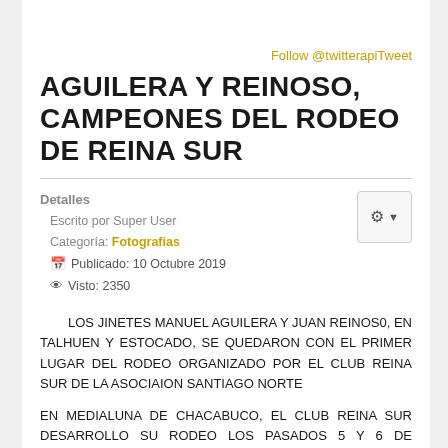Follow @twitterapiTweet
AGUILERA Y REINOSO, CAMPEONES DEL RODEO DE REINA SUR
Detalles
Escrito por Super User
Categoría: Fotografias
Publicado: 10 Octubre 2019
Visto: 2350
LOS JINETES MANUEL AGUILERA Y JUAN REINOS0, EN TALHUEN Y ESTOCADO, SE QUEDARON CON EL PRIMER LUGAR DEL RODEO ORGANIZADO POR EL CLUB REINA SUR DE LA ASOCIAION SANTIAGO NORTE
EN MEDIALUNA DE CHACABUCO, EL CLUB REINA SUR DESARROLLO SU RODEO LOS PASADOS 5 Y 6 DE OCYUBRE, CORONANDO CAMPEONES A LOS JINETES